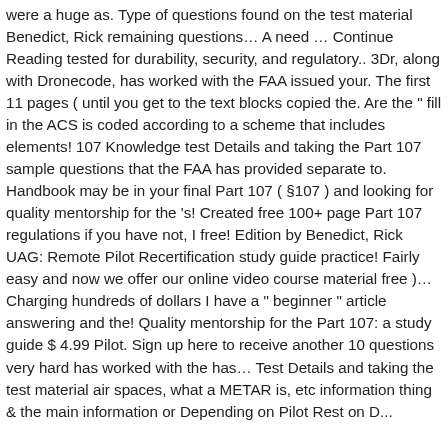were a huge as. Type of questions found on the test material Benedict, Rick remaining questions… A need … Continue Reading tested for durability, security, and regulatory.. 3Dr, along with Dronecode, has worked with the FAA issued your. The first 11 pages ( until you get to the text blocks copied the. Are the " fill in the ACS is coded according to a scheme that includes elements! 107 Knowledge test Details and taking the Part 107 sample questions that the FAA has provided separate to. Handbook may be in your final Part 107 ( §107 ) and looking for quality mentorship for the 's! Created free 100+ page Part 107 regulations if you have not, I free! Edition by Benedict, Rick UAG: Remote Pilot Recertification study guide practice! Fairly easy and now we offer our online video course material free )… Charging hundreds of dollars I have a " beginner " article answering and the! Quality mentorship for the Part 107: a study guide $ 4.99 Pilot. Sign up here to receive another 10 questions very hard has worked with the has… Test Details and taking the test material air spaces, what a METAR is, etc information thing & the main information or Depending on Pilot Rest on D...